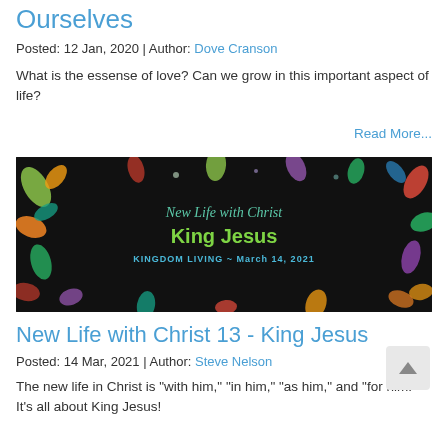Ourselves
Posted: 12 Jan, 2020 | Author: Dove Cranson
What is the essense of love?  Can we grow in this important aspect of life?
Read More...
[Figure (illustration): Dark background decorative banner with colorful illustrated leaves around the border. Center text reads 'New Life with Christ' in green italic script, 'King Jesus' in large bold yellow-green text, and 'KINGDOM LIVING ~ March 14, 2021' in blue bold text below.]
New Life with Christ 13 - King Jesus
Posted: 14 Mar, 2021 | Author: Steve Nelson
The new life in Christ is "with him," "in him," "as him," and "for him." It's all about King Jesus!